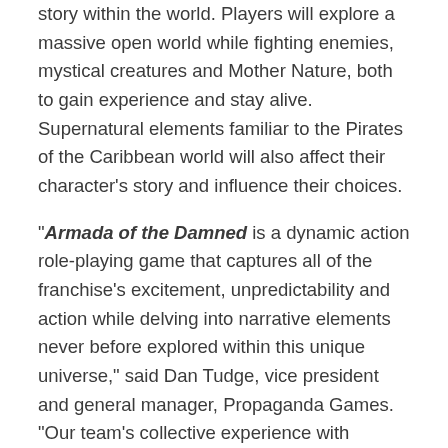story within the world. Players will explore a massive open world while fighting enemies, mystical creatures and Mother Nature, both to gain experience and stay alive. Supernatural elements familiar to the Pirates of the Caribbean world will also affect their character's story and influence their choices.
"Armada of the Damned is a dynamic action role-playing game that captures all of the franchise's excitement, unpredictability and action while delving into narrative elements never before explored within this unique universe," said Dan Tudge, vice president and general manager, Propaganda Games. "Our team's collective experience with industry-leading RPGs and action titles provides a strong foundation for us to create and build a compelling action role-playing title."
Armada of the Damned is scheduled to be released